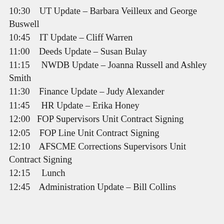10:30   UT Update – Barbara Veilleux and George Buswell
10:45   IT Update – Cliff Warren
11:00   Deeds Update – Susan Bulay
11:15   NWDB Update – Joanna Russell and Ashley Smith
11:30   Finance Update – Judy Alexander
11:45   HR Update – Erika Honey
12:00   FOP Supervisors Unit Contract Signing
12:05   FOP Line Unit Contract Signing
12:10   AFSCME Corrections Supervisors Unit Contract Signing
12:15   Lunch
12:45   Administration Update – Bill Collins